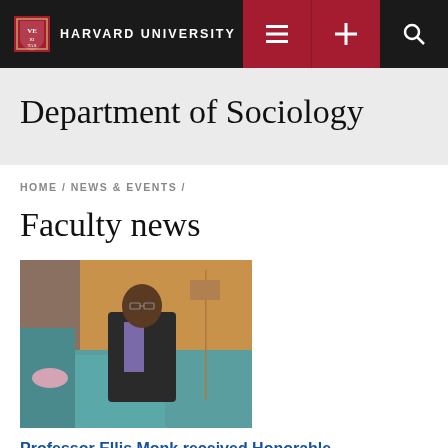HARVARD UNIVERSITY
Department of Sociology
HOME / NEWS & EVENTS /
Faculty news
[Figure (photo): Professor Ellis Monk seated on a teal couch in an office setting, wearing a dark blazer]
Professor Ellis Monk received Honorable Mention for "Beholding Inequality: Race...